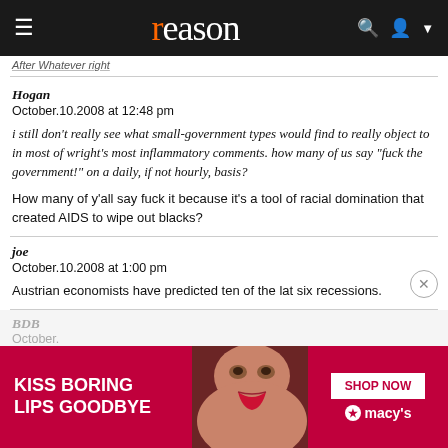reason
After Whatever right
Hogan
October.10.2008 at 12:48 pm

i still don't really see what small-government types would find to really object to in most of wright's most inflammatory comments. how many of us say "fuck the government!" on a daily, if not hourly, basis?

How many of y'all say fuck it because it's a tool of racial domination that created AIDS to wipe out blacks?
joe
October.10.2008 at 1:00 pm

Austrian economists have predicted ten of the lat six recessions.
BDB
October.
[Figure (advertisement): Macy's advertisement: KISS BORING LIPS GOODBYE, SHOP NOW, macy's]